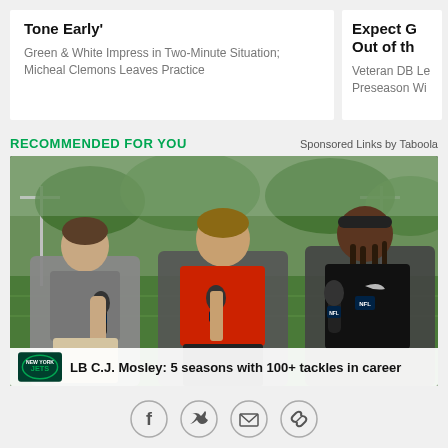Tone Early'
Green & White Impress in Two-Minute Situation; Micheal Clemons Leaves Practice
Expect G Out of th
Veteran DB Le Preseason Wi
RECOMMENDED FOR YOU
Sponsored Links by Taboola
[Figure (photo): Three men seated outdoors on a football practice field. Left: man in gray polo with microphone. Center: man in red shirt holding microphone. Right: muscular man in black athletic wear with headband holding microphone. Bottom bar shows Jets logo and text 'LB C.J. Mosley: 5 seasons with 100+ tackles in career'.]
[Figure (other): Social sharing icons row: Facebook, Twitter, Email, Link]